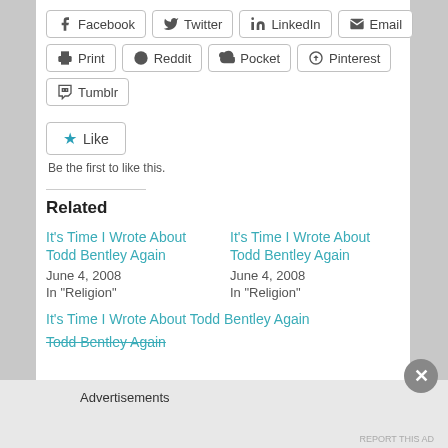Facebook
Twitter
LinkedIn
Email
Print
Reddit
Pocket
Pinterest
Tumblr
Be the first to like this.
Related
It's Time I Wrote About Todd Bentley Again
June 4, 2008
In "Religion"
It's Time I Wrote About Todd Bentley Again
June 4, 2008
In "Religion"
It's Time I Wrote About Todd Bentley Again
Advertisements